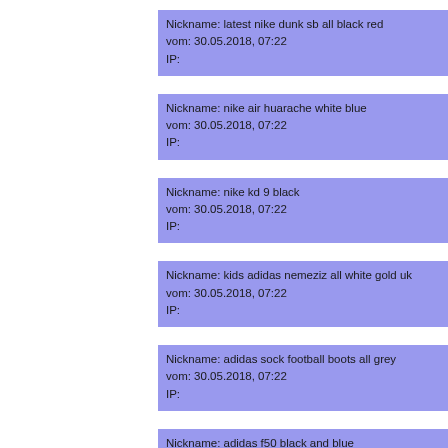Nickname: latest nike dunk sb all black red
vom: 30.05.2018, 07:22
IP:
Nickname: nike air huarache white blue
vom: 30.05.2018, 07:22
IP:
Nickname: nike kd 9 black
vom: 30.05.2018, 07:22
IP:
Nickname: kids adidas nemeziz all white gold uk
vom: 30.05.2018, 07:22
IP:
Nickname: adidas sock football boots all grey
vom: 30.05.2018, 07:22
IP:
Nickname: adidas f50 black and blue
vom: 30.05.2018, 07:21
IP:
Nickname: jordan future low black silver
vom: 30.05.2018, 07:21